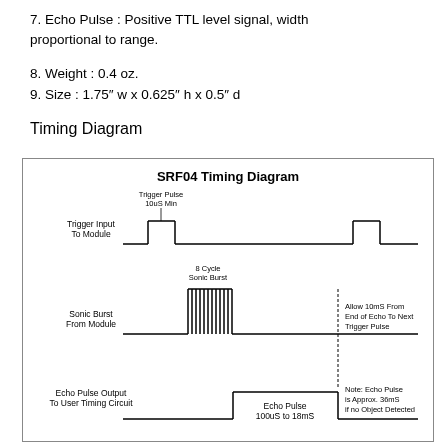7. Echo Pulse : Positive TTL level signal, width proportional to range.
8. Weight : 0.4 oz.
9. Size : 1.75″ w x 0.625″ h x 0.5″ d
Timing Diagram
[Figure (engineering-diagram): SRF04 Timing Diagram showing three signal rows: Trigger Input To Module (pulse signal with 10uS Min trigger pulse), Sonic Burst From Module (8 Cycle Sonic Burst), and Echo Pulse Output To User Timing Circuit (Echo Pulse 100uS to 18mS). Annotations indicate Allow 10mS From End of Echo To Next Trigger Pulse, and Note: Echo Pulse is Approx. 36mS if no Object Detected.]